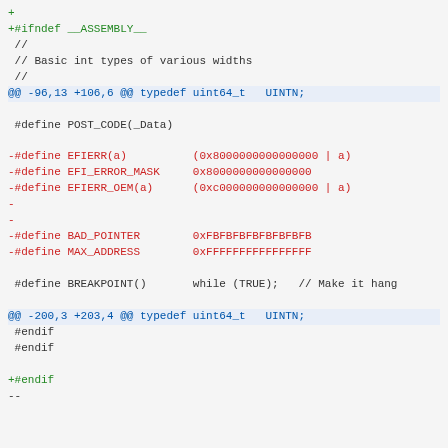diff code block showing additions/removals in a C header file
+
+#ifndef __ASSEMBLY__
 //
 // Basic int types of various widths
 //
@@ -96,13 +106,6 @@ typedef uint64_t   UINTN;

 #define POST_CODE(_Data)

-#define EFIERR(a)          (0x8000000000000000 | a)
-#define EFI_ERROR_MASK     0x8000000000000000
-#define EFIERR_OEM(a)      (0xc000000000000000 | a)
-
-
-#define BAD_POINTER        0xFBFBFBFBFBFBFBFB
-#define MAX_ADDRESS        0xFFFFFFFFFFFFFFFF

 #define BREAKPOINT()       while (TRUE);   // Make it hang

@@ -200,3 +203,4 @@ typedef uint64_t   UINTN;
 #endif
 #endif

+#endif
--